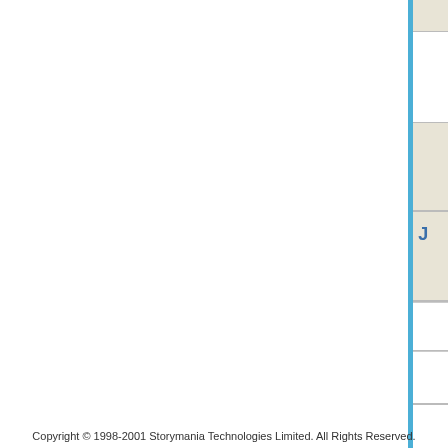Your Review (please...
Please Enter Code*:
Submit Your Re...
Submit Your Rating for I J...
Worst  1  2  3  4  5  Be...
Submit Your R...
COPYRIGHT NOTICE
© 2008 Cedric McClester
STORYMANIA PUBLICATION DATE
May 2008
Copyright © 1998-2001 Storymania Technologies Limited. All Rights Reserved.